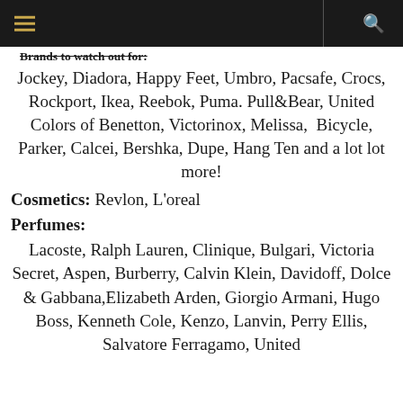Brands to watch out for: Jockey, Diadora, Happy Feet, Umbro, Pacsafe, Crocs, Rockport, Ikea, Reebok, Puma. Pull&Bear, United Colors of Benetton, Victorinox, Melissa, Bicycle, Parker, Calcei, Bershka, Dupe, Hang Ten and a lot lot more!
Cosmetics: Revlon, L'oreal
Perfumes: Lacoste, Ralph Lauren, Clinique, Bulgari, Victoria Secret, Aspen, Burberry, Calvin Klein, Davidoff, Dolce & Gabbana, Elizabeth Arden, Giorgio Armani, Hugo Boss, Kenneth Cole, Kenzo, Lanvin, Perry Ellis, Salvatore Ferragamo, United